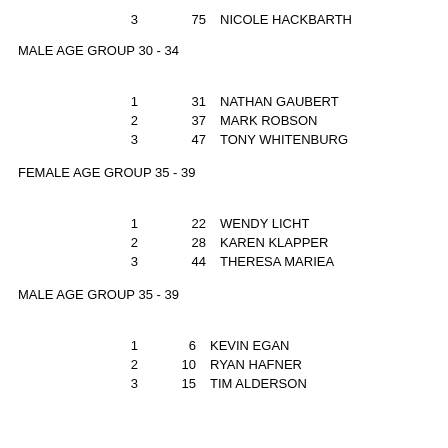3  75  NICOLE HACKBARTH
MALE AGE GROUP 30 - 34
1  31  NATHAN GAUBERT
2  37  MARK ROBSON
3  47  TONY WHITENBURG
FEMALE AGE GROUP 35 - 39
1  22  WENDY LICHT
2  28  KAREN KLAPPER
3  44  THERESA MARIEA
MALE AGE GROUP 35 - 39
1  6  KEVIN EGAN
2  10  RYAN HAFNER
3  15  TIM ALDERSON